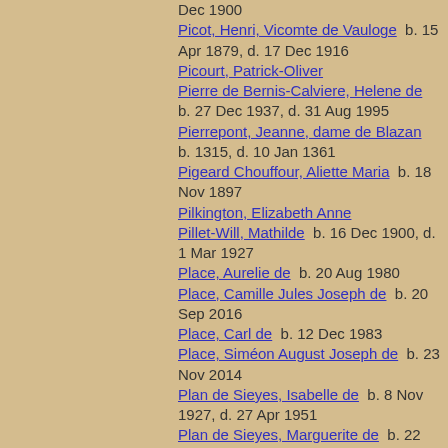Dec 1900
Picot, Henri, Vicomte de Vauloge  b. 15 Apr 1879, d. 17 Dec 1916
Picourt, Patrick-Oliver
Pierre de Bernis-Calviere, Helene de  b. 27 Dec 1937, d. 31 Aug 1995
Pierrepont, Jeanne, dame de Blazan  b. 1315, d. 10 Jan 1361
Pigeard Chouffour, Aliette Maria  b. 18 Nov 1897
Pilkington, Elizabeth Anne
Pillet-Will, Mathilde  b. 16 Dec 1900, d. 1 Mar 1927
Place, Aurelie de  b. 20 Aug 1980
Place, Camille Jules Joseph de  b. 20 Sep 2016
Place, Carl de  b. 12 Dec 1983
Place, Siméon August Joseph de  b. 23 Nov 2014
Plan de Sieyes, Isabelle de  b. 8 Nov 1927, d. 27 Apr 1951
Plan de Sieyes, Marguerite de  b. 22 Feb 1926, d. 30 Oct 1992
Plan, Francois, Comte de Sieyes  b. 16 Jul 1929
Plan, Henri, Comte de Sieye  b. 6 Nov